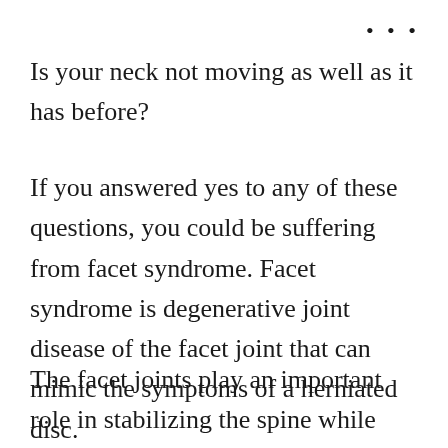Is your neck not moving as well as it has before?
If you answered yes to any of these questions, you could be suffering from facet syndrome. Facet syndrome is degenerative joint disease of the facet joint that can mimic the symptoms of a herniated disc.
The facet joints play an important role in stabilizing the spine while allowing movement.